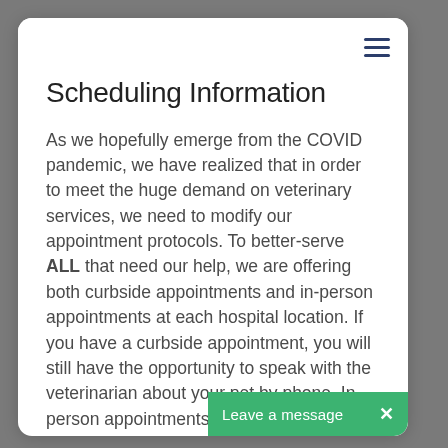Scheduling Information
As we hopefully emerge from the COVID pandemic, we have realized that in order to meet the huge demand on veterinary services, we need to modify our appointment protocols. To better-serve ALL that need our help, we are offering both curbside appointments and in-person appointments at each hospital location. If you have a curbside appointment, you will still have the opportunity to speak with the veterinarian about your pet by phone. In-person appointments are available in the mornings at our North Logan hospital and in the afternoons at our Providence clinic. Please realize that if no in-person appointments are available for urgent medical concerns, we can typically still see you in a timely manner with a curbside arran...